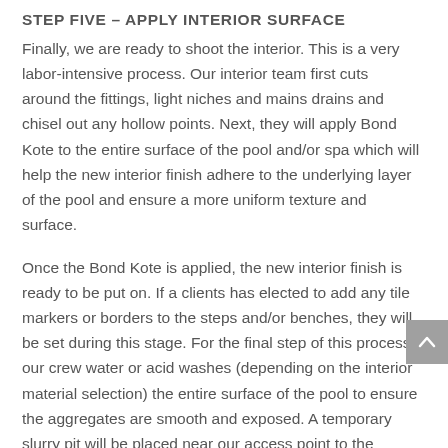STEP FIVE – APPLY INTERIOR SURFACE
Finally, we are ready to shoot the interior. This is a very labor-intensive process. Our interior team first cuts around the fittings, light niches and mains drains and chisel out any hollow points. Next, they will apply Bond Kote to the entire surface of the pool and/or spa which will help the new interior finish adhere to the underlying layer of the pool and ensure a more uniform texture and surface.
Once the Bond Kote is applied, the new interior finish is ready to be put on. If a clients has elected to add any tile markers or borders to the steps and/or benches, they will be set during this stage. For the final step of this process, our crew water or acid washes (depending on the interior material selection) the entire surface of the pool to ensure the aggregates are smooth and exposed. A temporary slurry pit will be placed near our access point to the backyard during water/acid wash and will be removed approximately 2-3 days after interior is applied.